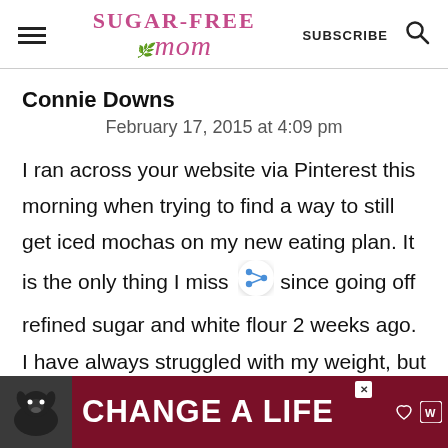Sugar-Free Mom | SUBSCRIBE
Connie Downs
February 17, 2015 at 4:09 pm
I ran across your website via Pinterest this morning when trying to find a way to still get iced mochas on my new eating plan. It is the only thing I miss since going off refined sugar and white flour 2 weeks ago. I have always struggled with my weight, but my
[Figure (infographic): Advertisement banner: dog image on left, 'CHANGE A LIFE' text on dark red background, close button, heart and share icons on right]